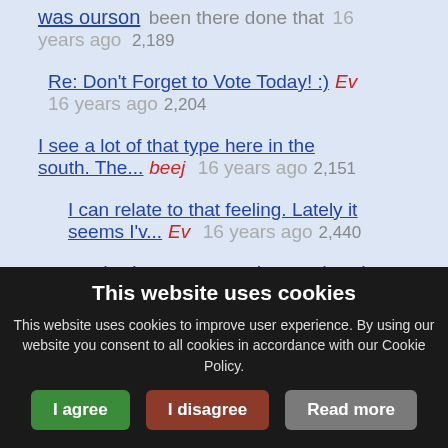was ourson  been there done that  16 years ago  2,189
Re: Don't Forget to Vote Today! :)  Ev  16 years ago  2,204
I see a lot of that type here in the south. The...  beej  16 years ago  2,151
I can relate to that feeling. Lately it seems I'v...  Ev  16 years ago  2,440
We had a guest speaker at church...
This website uses cookies
This website uses cookies to improve user experience. By using our website you consent to all cookies in accordance with our Cookie Policy.
I agree | I disagree | Read more